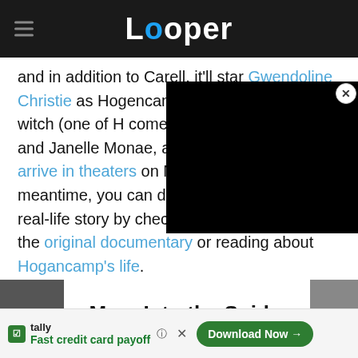Looper
and in addition to Carell, it'll star Gwendoline Christie as Hogencamp's car as a Belgian witch (one of H come to life). The film will a and Janelle Monae, and it's scheduled to arrive in theaters on November 21. In the meantime, you can do a little research on the real-life story by checking out the trailer for the original documentary or reading about Hogancamp's life.
[Figure (screenshot): Black video player overlay in top-right of content area, with close (X) button in top-right corner]
Spider-Man: Into the Spider-Verse – Dece
[Figure (screenshot): Advertisement banner at bottom: Tally app - Fast credit card payoff, with Download Now button. Help (?) and close (X) icons visible.]